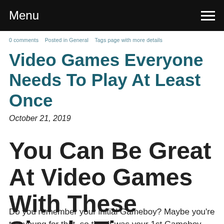Menu
0 comments   Posted in General   Tags page with more details
Video Games Everyone Needs To Play At Least Once
October 21, 2019
You Can Be Great At Video Games With These Simple Tips
Do you remember your initial Gameboy? Maybe you're too young for that, so that it was your 1st Gameboy